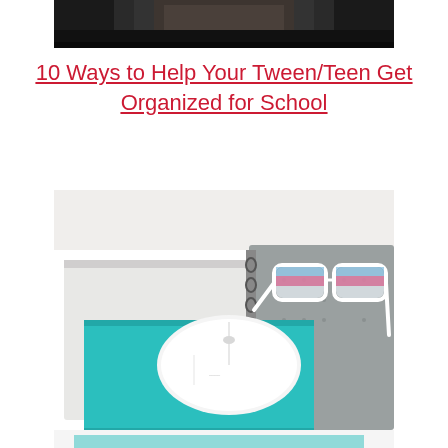[Figure (photo): Top portion of a photo with dark background, partially cropped]
10 Ways to Help Your Tween/Teen Get Organized for School
[Figure (photo): Desk organization photo showing a teal notebook with a white wireless mouse on top, glasses with colorful frames resting on a spiral-bound notebook, on a white surface]